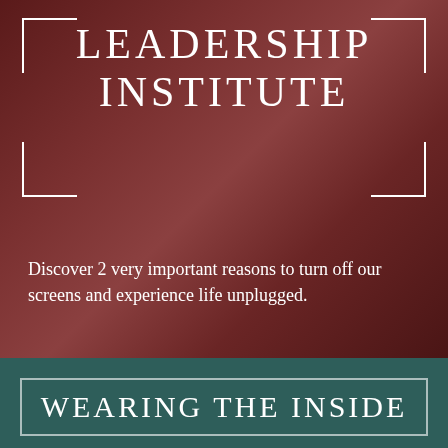[Figure (photo): Dark reddish-brown toned background photo of a person working with logs/wooden posts outdoors, overlaid with a dark red semi-transparent color wash]
LEADERSHIP INSTITUTE
Discover 2 very important reasons to turn off our screens and experience life unplugged.
WEARING THE INSIDE